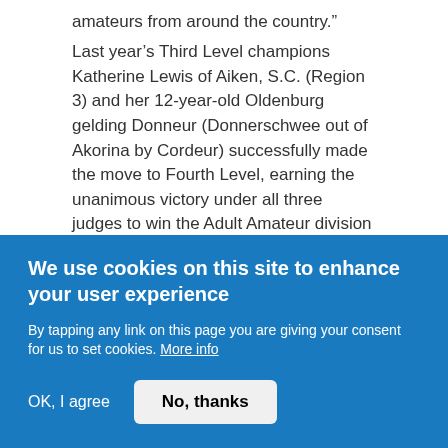amateurs from around the country."
Last year's Third Level champions Katherine Lewis of Aiken, S.C. (Region 3) and her 12-year-old Oldenburg gelding Donneur (Donnerschwee out of Akorina by Cordeur) successfully made the move to Fourth Level, earning the unanimous victory under all three judges to win the Adult Amateur division with 68.111%. But Lewis' partnership with her mount almost never happened. "I saw Donneur when he was three and I tried to buy him, but he didn't pass the vetting. I kept searching for a horse for eight more months, but could never get him out of my head. So I asked a friend who's a vet to look at him again in Germany, and he gave me the right to proceed. But then I never had a chance to visit...
We use cookies on this site to enhance your user experience
By tapping any link on this page you are giving your consent for us to set cookies. More info
OK, I agree
No, thanks